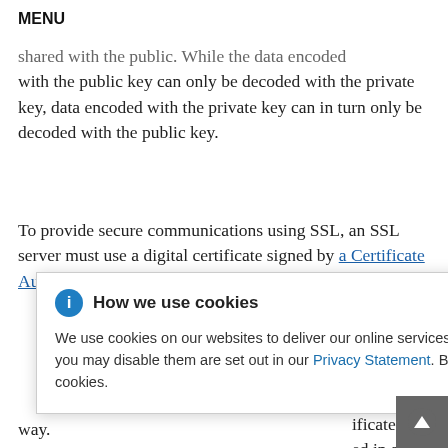MENU
shared with the public. While the data encoded with the public key can only be decoded with the private key, data encoded with the private key can in turn only be decoded with the public key.
To provide secure communications using SSL, an SSL server must use a digital certificate signed by a Certificate Authority (CA). The certificate lists the server ’s location, the CA’s a particular ificate, and ed in any way.
How we use cookies
We use cookies on our websites to deliver our online services. Details about how we use cookies and how you may disable them are set out in our Privacy Statement. By using this website you agree to our use of cookies.